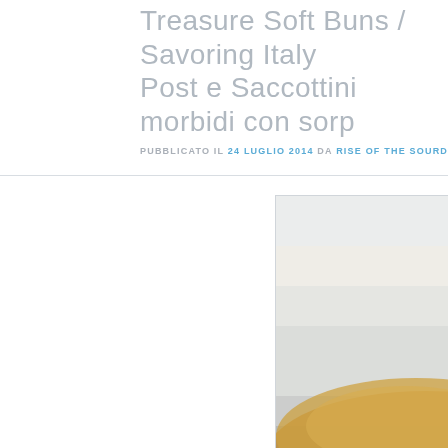Treasure Soft Buns / Savoring Italy Post e Saccottini morbidi con sorp
PUBBLICATO IL 24 LUGLIO 2014 DA RISE OF THE SOURDOUGH PREACHER
[Figure (photo): Close-up photo of soft buns (saccottini) filled with red berry jam, showing golden baked exterior and red filling, with blurred buns in background on a baking tray]